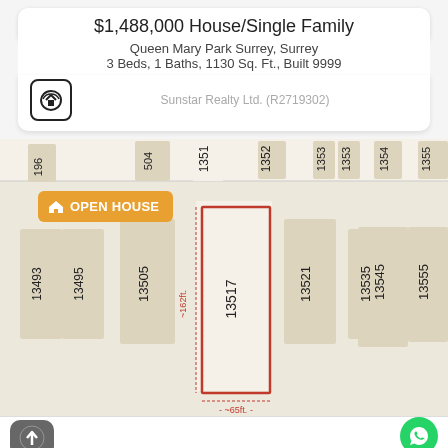$1,488,000 House/Single Family
Queen Mary Park Surrey, Surrey
3 Beds, 1 Baths, 1130 Sq. Ft., Built 9999
Sunstar Realty Ltd. (R2719302)
[Figure (map): Street map showing residential lots. Lot 13517 is highlighted with a red rectangle outline labeled ~65ft wide and ~162ft tall. An orange 'OPEN HOUSE' badge is shown top-left. Lot numbers visible: 13493, 13495, 13505, 13517, 13521, 13535, 13545, 13555, 1351, 1352, 1353, 1354, 1355, 196, 504. Street label: 79A Ave. Bottom UI shows navigation button and WhatsApp chat button.]